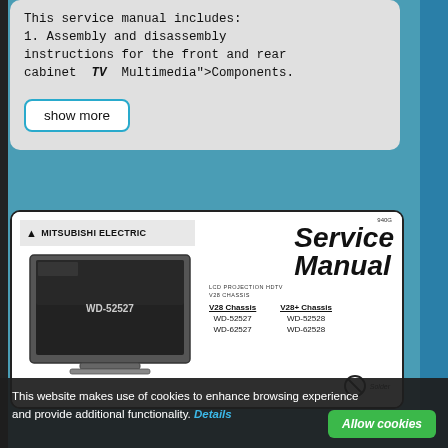This service manual includes:
1. Assembly and disassembly instructions for the front and rear cabinet TV Multimedia">Components.
show more
[Figure (screenshot): Mitsubishi Electric Service Manual cover for LCD Projection HDTV V28 Chassis, showing models WD-52527, WD-62527 (V28 Chassis) and WD-52528, WD-62528 (V28+ Chassis), with a photo of the WD-52527 TV and a No Solder symbol. Code 940G visible top right.]
This website makes use of cookies to enhance browsing experience and provide additional functionality. Details
Allow cookies